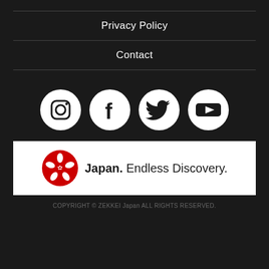Privacy Policy
Contact
[Figure (illustration): Four social media icons in white circles on dark background: Instagram, Facebook, Twitter, YouTube]
[Figure (logo): Japan. Endless Discovery. logo with red cherry blossom emblem on white background]
COPYRIGHT © ZEKKEI Japan ALL RIGHTS RESERVED.